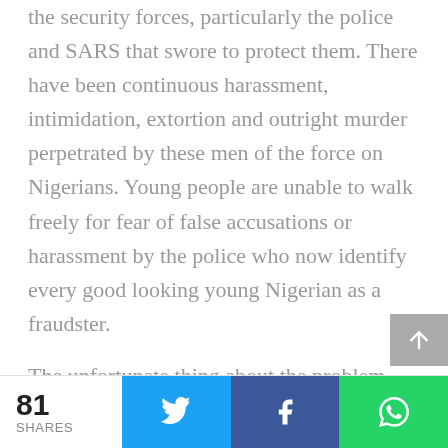the security forces, particularly the police and SARS that swore to protect them. There have been continuous harassment, intimidation, extortion and outright murder perpetrated by these men of the force on Nigerians. Young people are unable to walk freely for fear of false accusations or harassment by the police who now identify every good looking young Nigerian as a fraudster.
The unfortunate thing about the problem with the Nigerian police is the swift rise from harassment and extortion to rampant extrajudicial killings and the conspicuous numbness of the government. Even when the killer cops are arrested, no one
81 SHARES